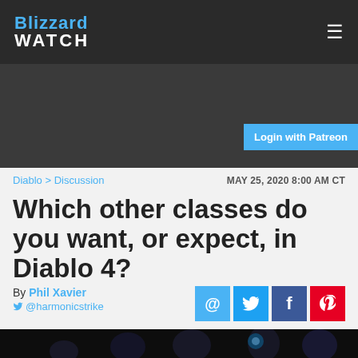Blizzard WATCH
Login with Patreon
Diablo > Discussion   MAY 25, 2020 8:00 AM CT
Which other classes do you want, or expect, in Diablo 4?
By Phil Xavier
@harmonicstrike
[Figure (photo): Group of Diablo characters in dark fantasy art style against black background]